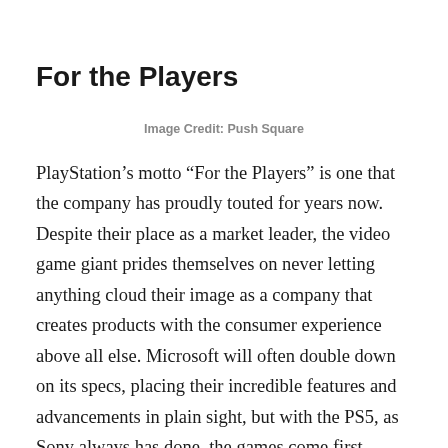For the Players
Image Credit: Push Square
PlayStation’s motto “For the Players” is one that the company has proudly touted for years now. Despite their place as a market leader, the video game giant prides themselves on never letting anything cloud their image as a company that creates products with the consumer experience above all else. Microsoft will often double down on its specs, placing their incredible features and advancements in plain sight, but with the PS5, as Sony always has done, the games come first.